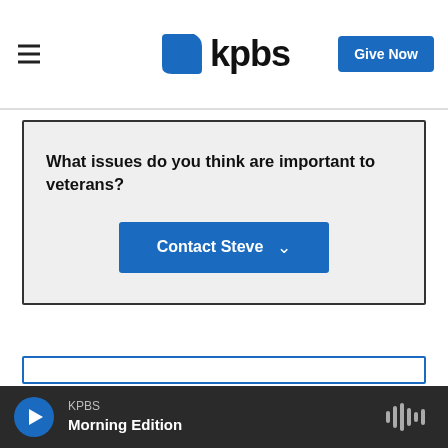KPBS — Give Now
What issues do you think are important to veterans?
Contact Steve
KPBS Morning Edition